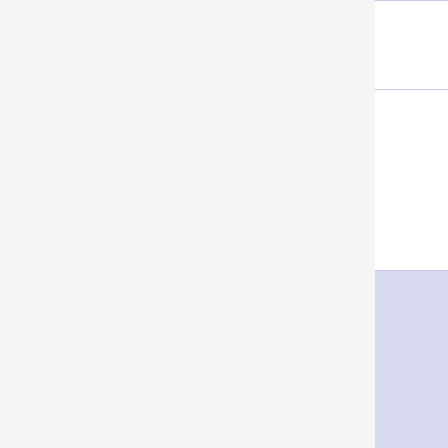| Item | NPC/Source | Required | Info |
| --- | --- | --- | --- |
|  | warrior |  | Race:
ALL |
| Basilisk Egg | a lava basilisk | (None) | QUEST
ITEM
0.1 S
TINY
Class:
ALL
Race:
ALL |
| Basilisk Eggs | None? | (None) | This is a meal!
0.6 S
SMALL
Class:
ALL
Race:
ALL |
| Basilisk Eye Stalk | a lava basilisk | (None) | QUEST
ITEM
0.1 S
TINY
Class:
All |